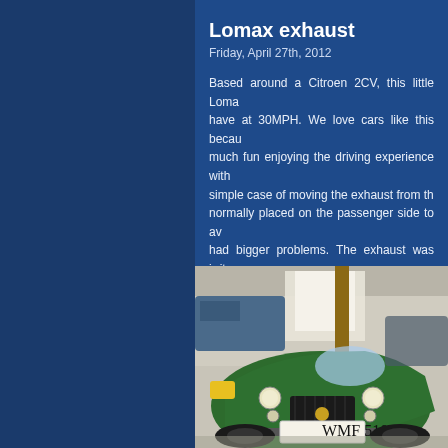Lomax exhaust
Friday, April 27th, 2012
Based around a Citroen 2CV, this little Loma have at 30MPH. We love cars like this becau much fun enjoying the driving experience with simple case of moving the exhaust from th normally placed on the passenger side to av had bigger problems. The exhaust was irrita rebuilt the front pipes and fitted a stainless summer comes around this little car should b
[Figure (photo): Front view of a green vintage-style Lomax kit car (based on Citroen 2CV) in a garage, showing registration plate WMF 510T]